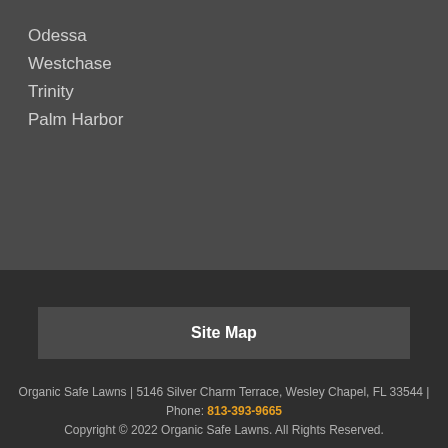Odessa
Westchase
Trinity
Palm Harbor
Site Map
Organic Safe Lawns | 5146 Silver Charm Terrace, Wesley Chapel, FL 33544 | Phone: 813-393-9665
Copyright © 2022 Organic Safe Lawns. All Rights Reserved.